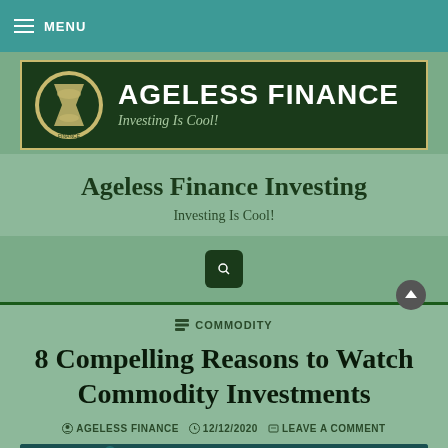MENU
[Figure (logo): Ageless Finance banner with hourglass logo, dark green background, gold border. Title: AGELESS FINANCE, subtitle: Investing Is Cool!]
Ageless Finance Investing
Investing Is Cool!
[Figure (other): Search icon (magnifying glass) on dark green shield/badge background]
COMMODITY
8 Compelling Reasons to Watch Commodity Investments
AGELESS FINANCE  12/12/2020  LEAVE A COMMENT
[Figure (photo): Industrial/commodity themed image with teal/dark tones, appears to show industrial equipment or pipeline]